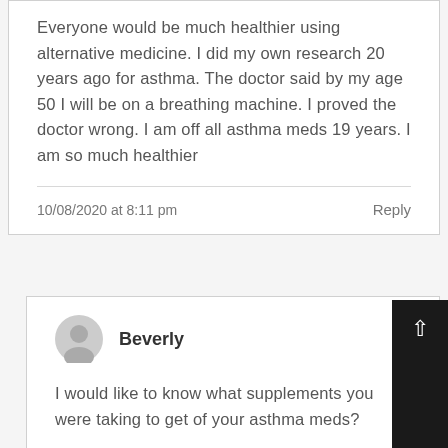Everyone would be much healthier using alternative medicine. I did my own research 20 years ago for asthma. The doctor said by my age 50 I will be on a breathing machine. I proved the doctor wrong. I am off all asthma meds 19 years. I am so much healthier
10/08/2020 at 8:11 pm
Reply
Beverly
I would like to know what supplements you were taking to get of your asthma meds?